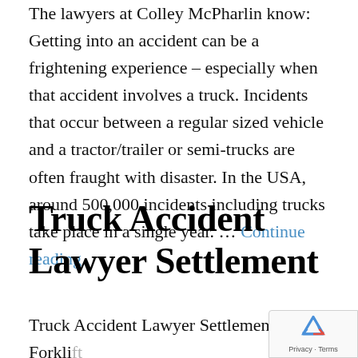The lawyers at Colley McPharlin know: Getting into an accident can be a frightening experience – especially when that accident involves a truck. Incidents that occur between a regular sized vehicle and a tractor/trailer or semi-trucks are often fraught with disaster. In the USA, around 500,000 incidents including trucks take place in a single year. … Continue reading
Truck Accident Lawyer Settlement
Truck Accident Lawyer Settlement – Forklift accident, spinal cord injury, herniated disk